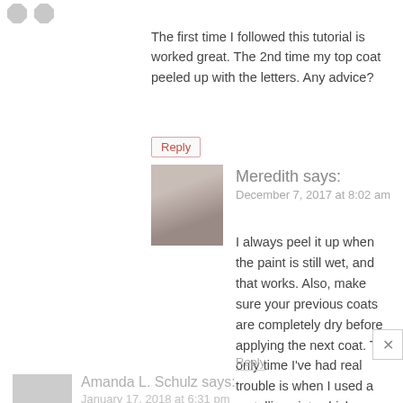The first time I followed this tutorial is worked great. The 2nd time my top coat peeled up with the letters. Any advice?
Reply
[Figure (photo): Avatar photo of Meredith, a woman with brown hair]
Meredith says:
December 7, 2017 at 8:02 am
I always peel it up when the paint is still wet, and that works. Also, make sure your previous coats are completely dry before applying the next coat. The only time I've had real trouble is when I used a metallic paint, which peeled up no matter what I tried...so if it's still happening, maybe it's the brand/type of paint?
Reply
[Figure (photo): Avatar placeholder for Amanda L. Schulz]
Amanda L. Schulz says:
January 17, 2018 at 6:31 pm